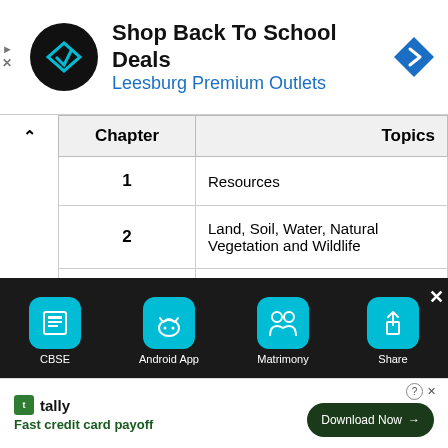[Figure (screenshot): Advertisement banner: Shop Back To School Deals - Leesburg Premium Outlets]
| Chapter | Topics |
| --- | --- |
| 1 | Resources |
| 2 | Land, Soil, Water, Natural Vegetation and Wildlife |
| 3 | Resources |
| 4 | Mineral and Power Resources |
| 5 | Agriculture |
| 6 | Industries |
[Figure (screenshot): Bottom toolbar with CBSE, Android App, Matrimony, Share icons and Tally advertisement]
CBSE   Android App   Matrimony   Share